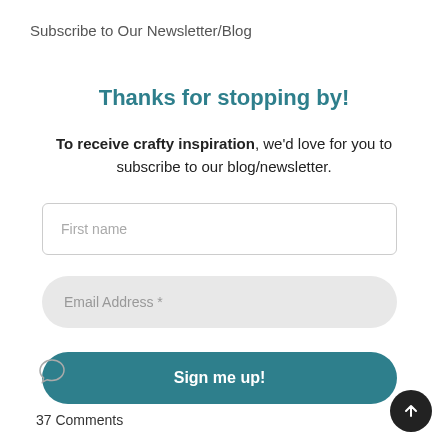Subscribe to Our Newsletter/Blog
Thanks for stopping by!
To receive crafty inspiration, we'd love for you to subscribe to our blog/newsletter.
First name
Email Address *
Sign me up!
37 Comments